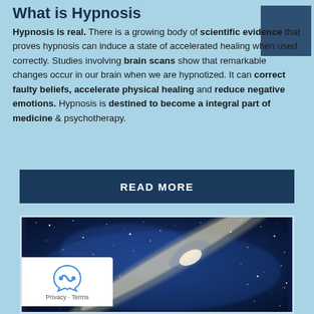What is Hypnosis
Hypnosis is real. There is a growing body of scientific evidence that proves hypnosis can induce a state of accelerated healing when used correctly. Studies involving brain scans show that remarkable changes occur in our brain when we are hypnotized. It can correct faulty beliefs, accelerate physical healing and reduce negative emotions. Hypnosis is destined to become a integral part of medicine & psychotherapy.
READ MORE
[Figure (photo): A night sky photograph showing the Milky Way galaxy with stars and a bright galactic band against a deep blue space background]
Privacy · Terms